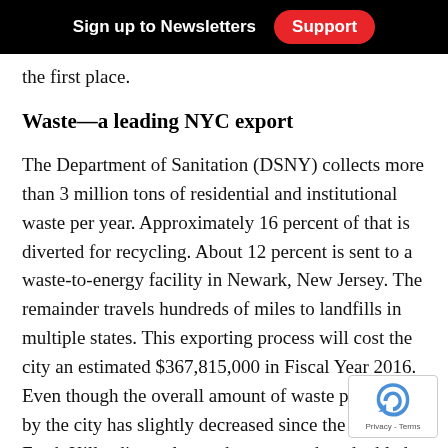Sign up to Newsletters  Support
the first place.
Waste—a leading NYC export
The Department of Sanitation (DSNY) collects more than 3 million tons of residential and institutional waste per year. Approximately 16 percent of that is diverted for recycling. About 12 percent is sent to a waste-to-energy facility in Newark, New Jersey. The remainder travels hundreds of miles to landfills in multiple states. This exporting process will cost the city an estimated $367,815,000 in Fiscal Year 2016. Even though the overall amount of waste produced by the city has slightly decreased since the closure of Fresh Kills, disposal costs have more than doubled due to the expense of exporting.